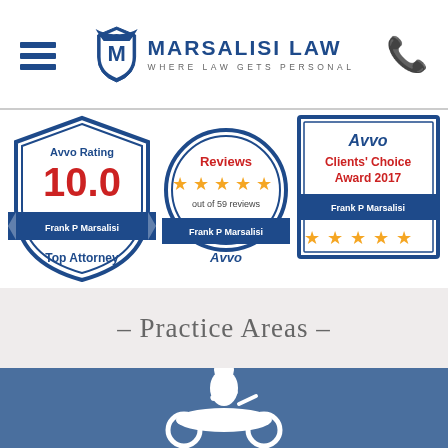Marsalisi Law – Where Law Gets Personal
[Figure (infographic): Three Avvo award badges: (1) Avvo Rating 10.0 shield badge – Frank P Marsalisi, Top Attorney; (2) Reviews 5-star circle badge – out of 59 reviews, Frank P Marsalisi, Avvo; (3) Avvo Clients' Choice Award 2017 rectangular badge – Frank P Marsalisi with 5 gold stars]
– Practice Areas –
[Figure (illustration): White motorcycle rider silhouette icon on blue background, partially visible at bottom of page]